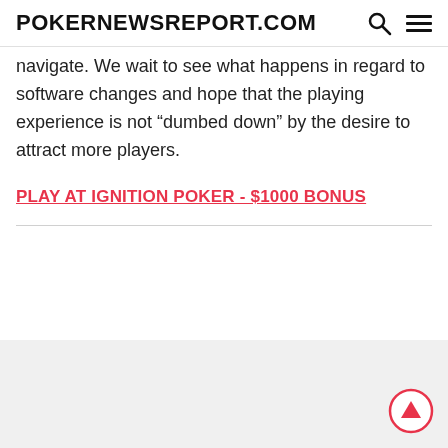POKERNEWSREPORT.COM
navigate. We wait to see what happens in regard to software changes and hope that the playing experience is not “dumbed down” by the desire to attract more players.
PLAY AT IGNITION POKER - $1000 BONUS